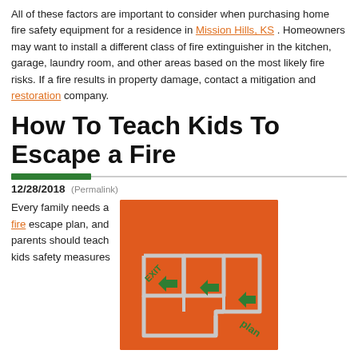All of these factors are important to consider when purchasing home fire safety equipment for a residence in Mission Hills, KS . Homeowners may want to install a different class of fire extinguisher in the kitchen, garage, laundry room, and other areas based on the most likely fire risks. If a fire results in property damage, contact a mitigation and restoration company.
How To Teach Kids To Escape a Fire
12/28/2018 (Permalink)
Every family needs a fire escape plan, and parents should teach kids safety measures
[Figure (illustration): Fire escape plan diagram on orange background showing a floor plan with EXIT label and green arrows indicating escape routes]